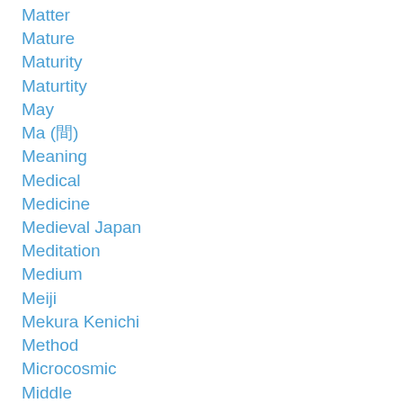Matter
Mature
Maturity
Maturtity
May
Ma (間)
Meaning
Medical
Medicine
Medieval Japan
Meditation
Medium
Meiji
Mekura Kenichi
Method
Microcosmic
Middle
Middle-aged
Militarism
Military
Mind